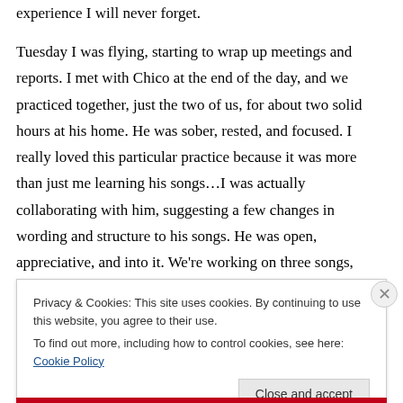experience I will never forget.
Tuesday I was flying, starting to wrap up meetings and reports. I met with Chico at the end of the day, and we practiced together, just the two of us, for about two solid hours at his home. He was sober, rested, and focused. I really loved this particular practice because it was more than just me learning his songs…I was actually collaborating with him, suggesting a few changes in wording and structure to his songs. He was open, appreciative, and into it. We're working on three songs, which I may perform with him and the rest if the InTransito
Privacy & Cookies: This site uses cookies. By continuing to use this website, you agree to their use.
To find out more, including how to control cookies, see here: Cookie Policy
Close and accept